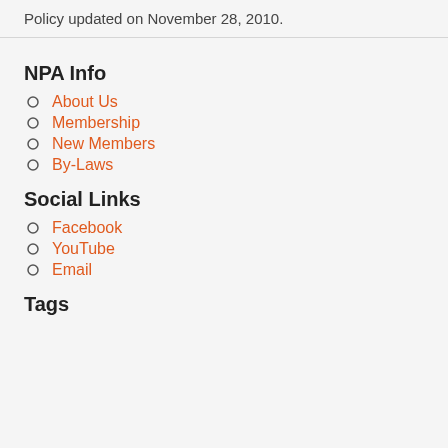Policy updated on November 28, 2010.
NPA Info
About Us
Membership
New Members
By-Laws
Social Links
Facebook
YouTube
Email
Tags